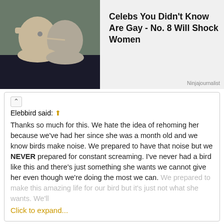[Figure (photo): Advertisement image showing two men kissing, with text 'Celebs You Didn't Know Are Gay - No. 8 Will Shock Women' and source 'Ninjajournalist']
Elebbird said: ↑
Thanks so much for this. We hate the idea of rehoming her because we've had her since she was a month old and we know birds make noise. We prepared to have that noise but we NEVER prepared for constant screaming. I've never had a bird like this and there's just something she wants we cannot give her even though we're doing the most we can. We prepared to make this amazing life for our bird but it's just not what she wants. We'll
Click to expand...
It's like we have the same bird seriously! I've had Conures for 15 years this is not my first Rodeo as it were and he is unlike any other Conure I've had. He just needs constant attention and someone there with him and unfortunately that's just not healthy or possible. I have a life meager though it maybe I work and have a dog and family members that I have to spend time with as well and he just will not accept that. He has as big of a cage as I can give him(HQ flight